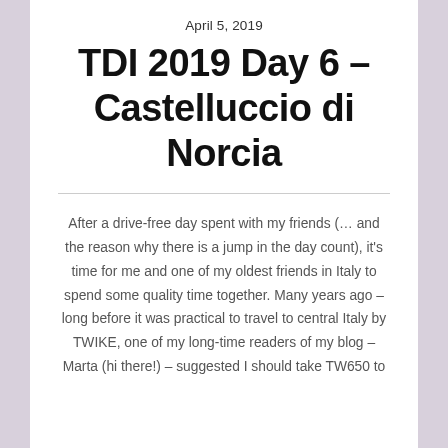April 5, 2019
TDI 2019 Day 6 – Castelluccio di Norcia
After a drive-free day spent with my friends (… and the reason why there is a jump in the day count), it's time for me and one of my oldest friends in Italy to spend some quality time together. Many years ago – long before it was practical to travel to central Italy by TWIKE, one of my long-time readers of my blog – Marta (hi there!) – suggested I should take TW650 to